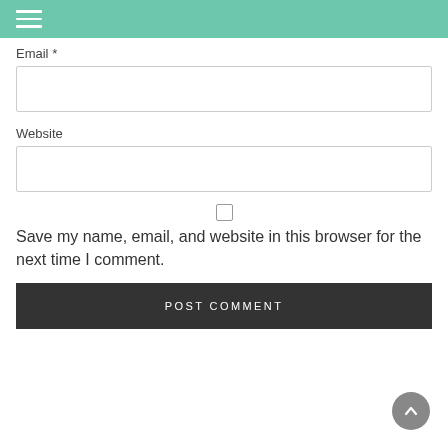Email *
Website
Save my name, email, and website in this browser for the next time I comment.
POST COMMENT